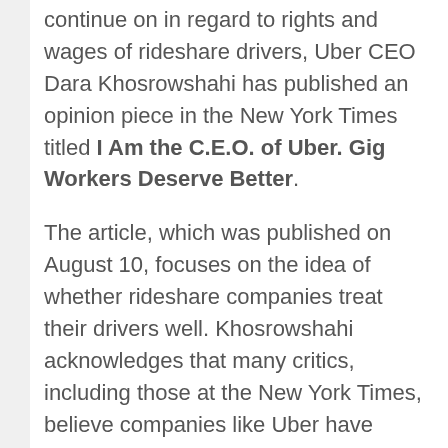continue on in regard to rights and wages of rideshare drivers, Uber CEO Dara Khosrowshahi has published an opinion piece in the New York Times titled I Am the C.E.O. of Uber. Gig Workers Deserve Better.
The article, which was published on August 10, focuses on the idea of whether rideshare companies treat their drivers well. Khosrowshahi acknowledges that many critics, including those at the New York Times, believe companies like Uber have failed drivers by treating them like contractors. While Khosrowshahi does not believe his